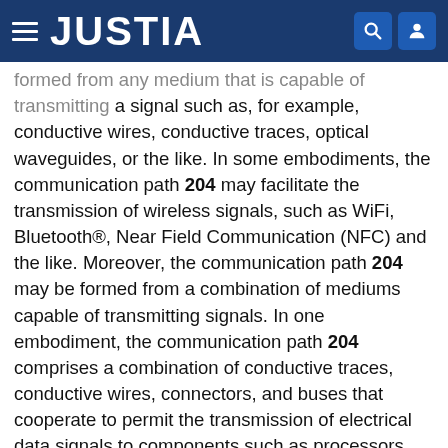JUSTIA
formed from any medium that is capable of transmitting a signal such as, for example, conductive wires, conductive traces, optical waveguides, or the like. In some embodiments, the communication path 204 may facilitate the transmission of wireless signals, such as WiFi, Bluetooth®, Near Field Communication (NFC) and the like. Moreover, the communication path 204 may be formed from a combination of mediums capable of transmitting signals. In one embodiment, the communication path 204 comprises a combination of conductive traces, conductive wires, connectors, and buses that cooperate to permit the transmission of electrical data signals to components such as processors, memories, sensors, input devices, output devices, and communication devices. Accordingly, the communication path 204 may comprise a vehicle bus, such as for example a LIN bus, a CAN bus, a VAN bus,